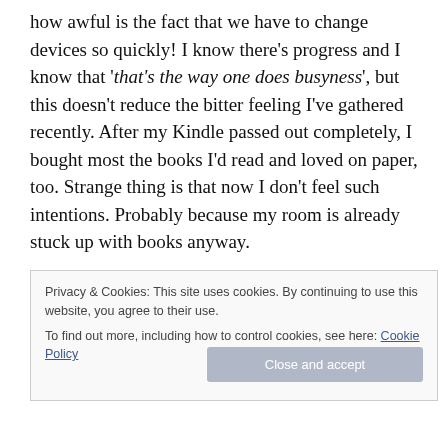how awful is the fact that we have to change devices so quickly! I know there's progress and I know that 'that's the way one does busyness', but this doesn't reduce the bitter feeling I've gathered recently. After my Kindle passed out completely, I bought most the books I'd read and loved on paper, too. Strange thing is that now I don't feel such intentions. Probably because my room is already stuck up with books anyway.
At the end, I wish to myself, and to you, book fellows, large enough homes/houses where we could buy and
Privacy & Cookies: This site uses cookies. By continuing to use this website, you agree to their use.
To find out more, including how to control cookies, see here: Cookie Policy